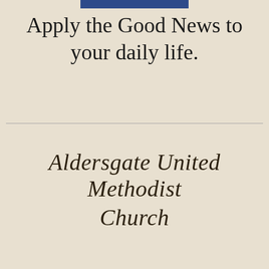[Figure (other): Blue rectangular bar at top center, used as a decorative header element]
Apply the Good News to your daily life.
Aldersgate United Methodist Church